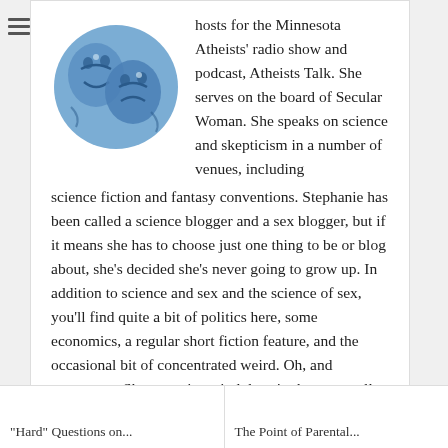[Figure (illustration): Circular illustration with blue theatrical masks (comedy/drama faces) on a blue background]
hosts for the Minnesota Atheists' radio show and podcast, Atheists Talk. She serves on the board of Secular Woman. She speaks on science and skepticism in a number of venues, including science fiction and fantasy conventions. Stephanie has been called a science blogger and a sex blogger, but if it means she has to choose just one thing to be or blog about, she's decided she's never going to grow up. In addition to science and sex and the science of sex, you'll find quite a bit of politics here, some economics, a regular short fiction feature, and the occasional bit of concentrated weird. Oh, and arguments. She sometimes indulges in those as well. But I'm sure everything will be just fine. Nothing to worry about. Nothing at all.
"Hard" Questions on...
The Point of Parental...